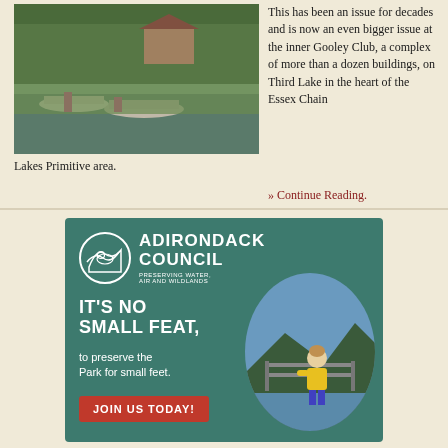[Figure (photo): Boats docked near a lake shore with tall grasses and trees in the background]
This has been an issue for decades and is now an even bigger issue at the inner Gooley Club, a complex of more than a dozen buildings, on Third Lake in the heart of the Essex Chain Lakes Primitive area. » Continue Reading.
[Figure (infographic): Adirondack Council advertisement with teal background, logo, headline 'IT'S NO SMALL FEAT, to preserve the Park for small feet.', JOIN US TODAY button, and circular photo of child in life jacket looking at lake]